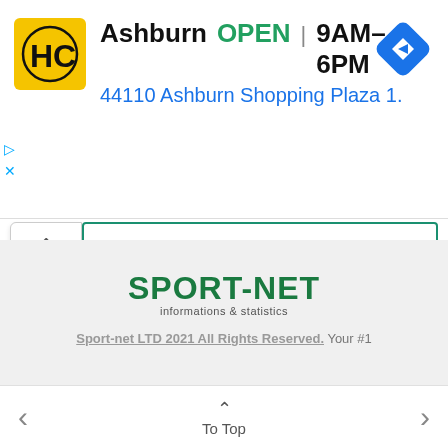[Figure (screenshot): Ad banner showing HC logo, Ashburn store info: OPEN 9AM-6PM, address 44110 Ashburn Shopping Plaza 1., navigation diamond icon]
▷
×
∧  ☐ READ LATER
[Figure (logo): SPORT-NET informations & statistics logo in dark green]
Sport-net LTD 2021 All Rights Reserved. Your #1
< ∧ To Top >